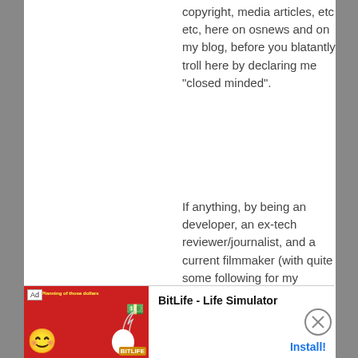copyright, media articles, etc etc, here on osnews and on my blog, before you blatantly troll here by declaring me "closed minded".
If anything, by being a developer, an ex-tech reviewer/journalist, and a current filmmaker (with quite some following for my tutorials), I have way more visibility than you have on the matter. Just because you'd like a proprietary technology to fail for
[Figure (screenshot): Advertisement banner for BitLife - Life Simulator app with red background, smiley face graphic, and Install button]